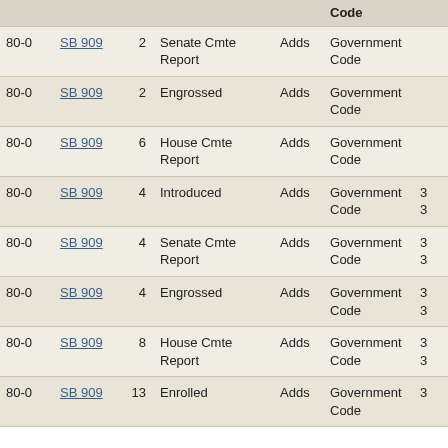|  |  |  |  |  | Code |  |
| --- | --- | --- | --- | --- | --- | --- |
| 80-0 | SB 909 | 2 | Senate Cmte Report | Adds | Government Code |  |
| 80-0 | SB 909 | 2 | Engrossed | Adds | Government Code |  |
| 80-0 | SB 909 | 6 | House Cmte Report | Adds | Government Code |  |
| 80-0 | SB 909 | 4 | Introduced | Adds | Government Code | 3 3 |
| 80-0 | SB 909 | 4 | Senate Cmte Report | Adds | Government Code | 3 3 |
| 80-0 | SB 909 | 4 | Engrossed | Adds | Government Code | 3 3 |
| 80-0 | SB 909 | 8 | House Cmte Report | Adds | Government Code | 3 3 |
| 80-0 | SB 909 | 13 | Enrolled | Adds | Government Code | 3 |